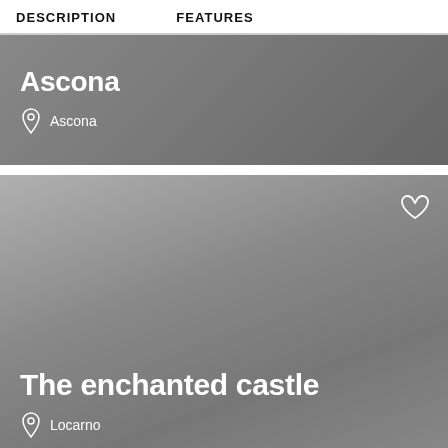DESCRIPTION   FEATURES
[Figure (screenshot): Card for Ascona location with dark gray gradient background, bold white title 'Ascona' and location pin icon with text 'Ascona']
[Figure (screenshot): Card for 'The enchanted castle' with gray gradient background, heart icon top right, bold white title 'The enchanted castle', and location pin icon with text 'Locarno']